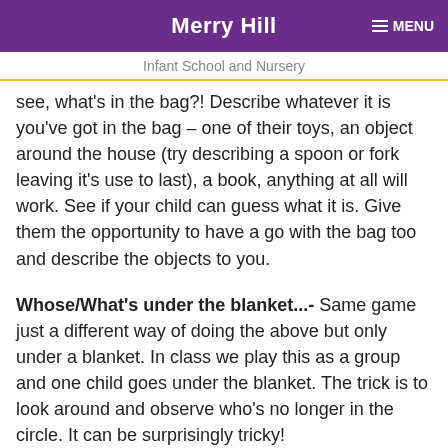Merry Hill
Infant School and Nursery
see, what's in the bag?!  Describe whatever it is you've got in the bag – one of their toys,  an object around the house (try describing a spoon or fork leaving it's use to last), a book, anything at all will work.  See if your child can guess what it is.  Give them the opportunity to have a go with the bag too and describe the objects to you.
Whose/What's under the blanket...- Same game just a different way of doing the above but only under a blanket.  In class we play this as a group and one child goes under the blanket.  The trick is to look around and observe who's no longer in the circle.  It can be surprisingly tricky!
Another way of playing this game is by using some objects (again any random objects). Start with three objects, hide one.  Which object is missing? Build up the amounts of